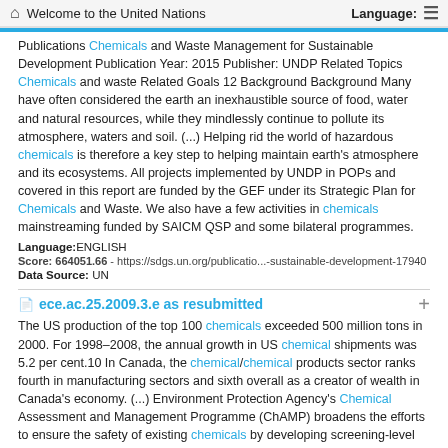Welcome to the United Nations   Language:
Publications Chemicals and Waste Management for Sustainable Development Publication Year: 2015 Publisher: UNDP Related Topics Chemicals and waste Related Goals 12 Background Background Many have often considered the earth an inexhaustible source of food, water and natural resources, while they mindlessly continue to pollute its atmosphere, waters and soil. (...) Helping rid the world of hazardous chemicals is therefore a key step to helping maintain earth's atmosphere and its ecosystems. All projects implemented by UNDP in POPs and covered in this report are funded by the GEF under its Strategic Plan for Chemicals and Waste. We also have a few activities in chemicals mainstreaming funded by SAICM QSP and some bilateral programmes.
Language:ENGLISH
Score: 664051.66 - https://sdgs.un.org/publicatio...-sustainable-development-17940
Data Source: UN
ece.ac.25.2009.3.e as resubmitted
The US production of the top 100 chemicals exceeded 500 million tons in 2000. For 1998–2008, the annual growth in US chemical shipments was 5.2 per cent.10 In Canada, the chemical/chemical products sector ranks fourth in manufacturing sectors and sixth overall as a creator of wealth in Canada's economy. (...) Environment Protection Agency's Chemical Assessment and Management Programme (ChAMP) broadens the efforts to ensure the safety of existing chemicals by developing screening-level